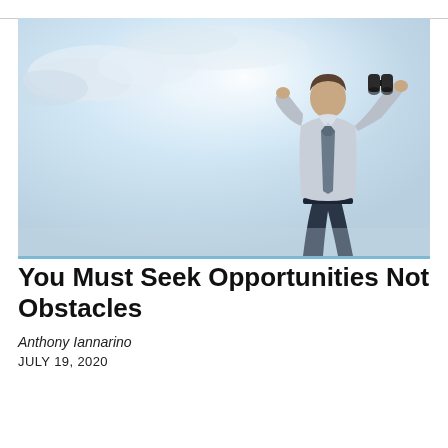[Figure (photo): Low-angle upward view of a businessman in a grey shirt and dark tie holding binoculars up to his face against a bright overcast sky with soft clouds.]
You Must Seek Opportunities Not Obstacles
Anthony Iannarino
JULY 19, 2020